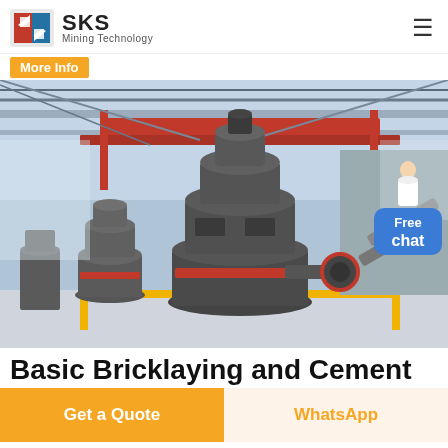SKS Mining Technology
More Info
[Figure (photo): Industrial factory floor with large grey grinding mill machines (vertical roller mills) in a spacious facility with red overhead cranes and steel roof structure. Yellow safety borders on the floor.]
Basic Bricklaying and Cement
Get a Quote
WhatsApp